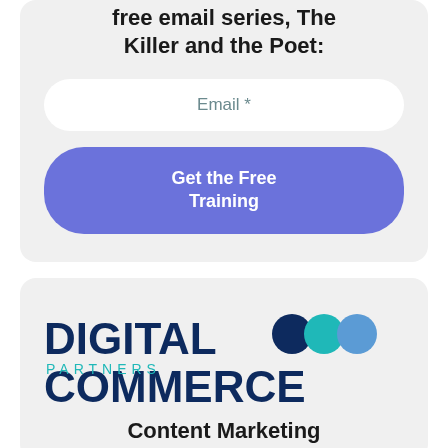free email series, The Killer and the Poet:
Email *
Get the Free Training
[Figure (logo): Digital Commerce Partners logo with three circles in dark blue, teal, and medium blue]
Content Marketing